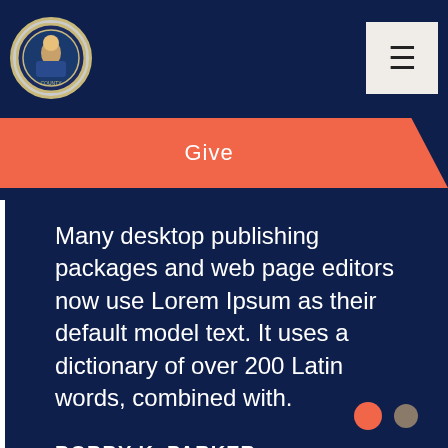[Figure (logo): Circular organizational logo with gold border on dark navy background]
[Figure (illustration): Hamburger menu button (three horizontal lines) in a light beige square]
Give
Many desktop publishing packages and web page editors now use Lorem Ipsum as their default model text. It uses a dictionary of over 200 Latin words, combined with.
BOBBY K. PARKER